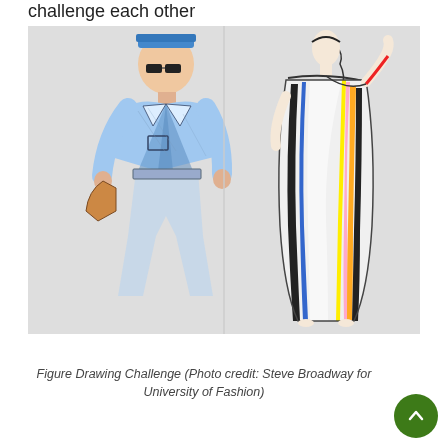challenge each other
[Figure (illustration): Two fashion sketches side by side: on the left, a male figure wearing a blue jacket, cap, and sunglasses drawn in colored pencil and ink; on the right, a female figure in a striped multi-color gown drawn in colored marker and ink.]
Figure Drawing Challenge (Photo credit: Steve Broadway for University of Fashion)